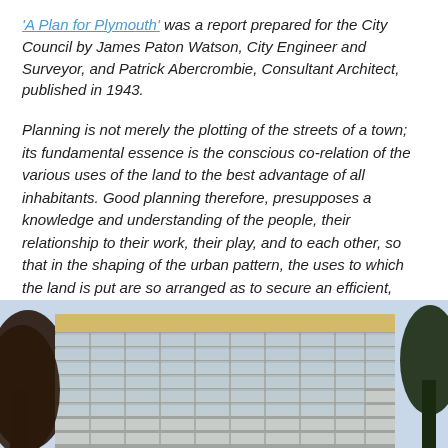'A Plan for Plymouth' was a report prepared for the City Council by James Paton Watson, City Engineer and Surveyor, and Patrick Abercrombie, Consultant Architect, published in 1943.
Planning is not merely the plotting of the streets of a town; its fundamental essence is the conscious co-relation of the various uses of the land to the best advantage of all inhabitants. Good planning therefore, presupposes a knowledge and understanding of the people, their relationship to their work, their play, and to each other, so that in the shaping of the urban pattern, the uses to which the land is put are so arranged as to secure an efficient, well- balanced and harmonious whole.
[Figure (photo): Photograph of a modernist multi-storey building taken from below, showing a grid-glass facade with a yellow/tan parapet at the top, surrounded by trees on the left and right edges.]